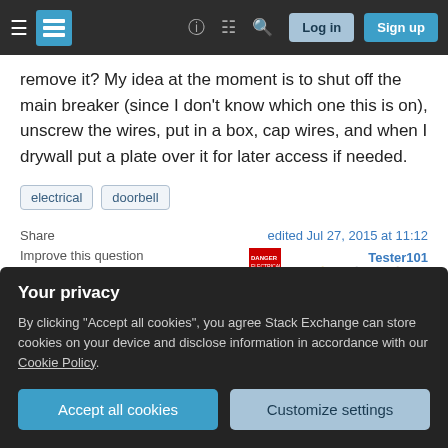Stack Exchange navigation bar with hamburger menu, logo, help, chat, search icons, Log in and Sign up buttons
remove it? My idea at the moment is to shut off the main breaker (since I don't know which one this is on), unscrew the wires, put in a box, cap wires, and when I drywall put a plate over it for later access if needed.
electrical
doorbell
Share
Improve this question
Follow
edited Jul 27, 2015 at 11:12
Tester101 129k ●76 ●307 ●590
Your privacy
By clicking "Accept all cookies", you agree Stack Exchange can store cookies on your device and disclose information in accordance with our Cookie Policy.
Accept all cookies
Customize settings